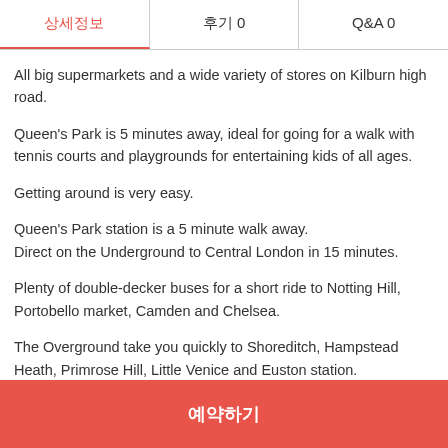| 상세정보 | 후기 0 | Q&A 0 |
| --- | --- | --- |
All big supermarkets and a wide variety of stores on Kilburn high road.
Queen's Park is 5 minutes away, ideal for going for a walk with tennis courts and playgrounds for entertaining kids of all ages.
Getting around is very easy.
Queen's Park station is a 5 minute walk away.
Direct on the Underground to Central London in 15 minutes.
Plenty of double-decker buses for a short ride to Notting Hill, Portobello market, Camden and Chelsea.
The Overground take you quickly to Shoreditch, Hampstead Heath, Primrose Hill, Little Venice and Euston station.
Excellent connection to Heathrow via Paddington station.
예약하기